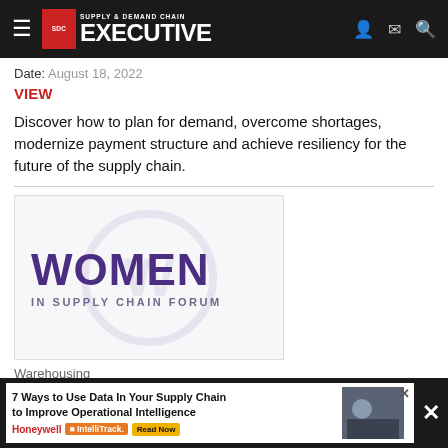Supply & Demand Chain Executive
Date: August 18, 2022
VIEW
Discover how to plan for demand, overcome shortages, modernize payment structure and achieve resiliency for the future of the supply chain.
[Figure (logo): Women in Supply Chain Forum logo with purple text on light background with watermark circle]
Warehousing
Supply ... n Supply ...
[Figure (infographic): Ad banner: 7 Ways to Use Data In Your Supply Chain to Improve Operational Intelligence - Honeywell IntelliTrack. Read Now]